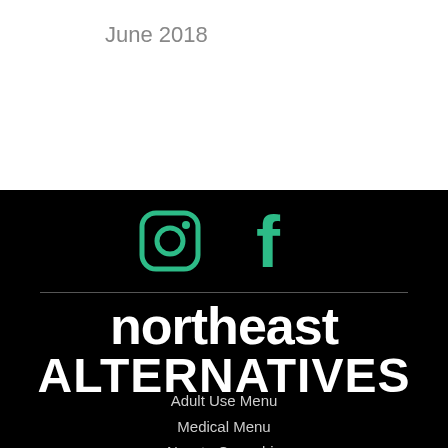June 2018
[Figure (logo): Instagram and Facebook social media icons in teal/green color on black background]
northeast ALTERNATIVES
Adult Use Menu
Medical Menu
New to Cannabis